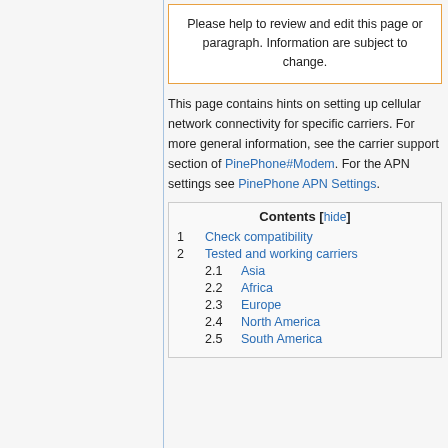Please help to review and edit this page or paragraph. Information are subject to change.
This page contains hints on setting up cellular network connectivity for specific carriers. For more general information, see the carrier support section of PinePhone#Modem. For the APN settings see PinePhone APN Settings.
| Contents [hide] |
| --- |
| 1 Check compatibility |
| 2 Tested and working carriers |
| 2.1 Asia |
| 2.2 Africa |
| 2.3 Europe |
| 2.4 North America |
| 2.5 South America |